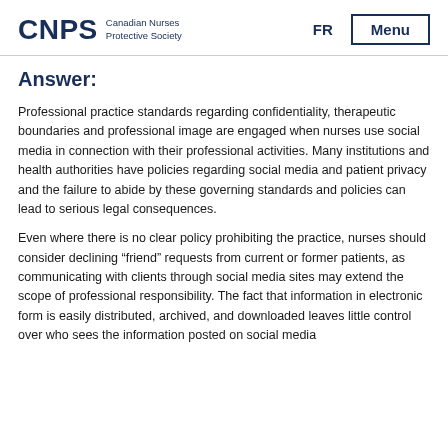CNPS Canadian Nurses Protective Society | FR | Menu
Answer:
Professional practice standards regarding confidentiality, therapeutic boundaries and professional image are engaged when nurses use social media in connection with their professional activities. Many institutions and health authorities have policies regarding social media and patient privacy and the failure to abide by these governing standards and policies can lead to serious legal consequences.
Even where there is no clear policy prohibiting the practice, nurses should consider declining “friend” requests from current or former patients, as communicating with clients through social media sites may extend the scope of professional responsibility. The fact that information in electronic form is easily distributed, archived, and downloaded leaves little control over who sees the information posted on social media